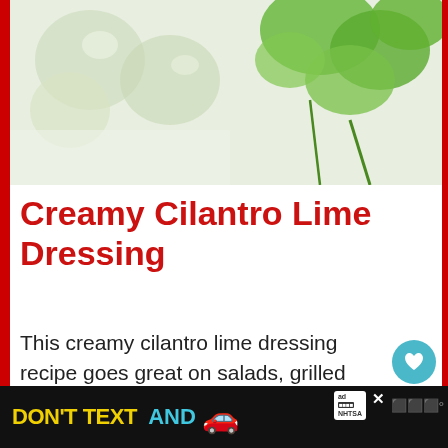[Figure (photo): Close-up photo of lime slices and cilantro (fresh herbs) on a light background, suggesting ingredients for a dressing recipe.]
Creamy Cilantro Lime Dressing
This creamy cilantro lime dressing recipe goes great on salads, grilled chicken, tacos or anything else that needs a little Mexican flair. If you're looking for a quick and easy way to add flavour to your salads, look no further than this creamy cilantro lime dressing recipe. It's made with just a few
[Figure (screenshot): Ad banner at bottom: 'DON'T TEXT AND' followed by car emoji, with NHTSA ad badge. Dark background with yellow and cyan text.]